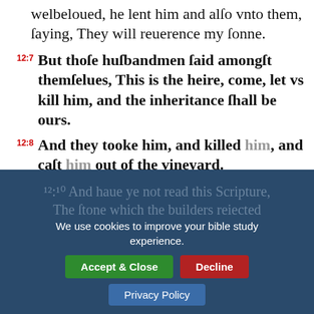weldewed, he lent him and all bnto them, saying, They will reuerence my sonne.
12:7 But those husbandmen said amongst themselues, This is the heire, come, let vs kill him, and the inheritance shall be ours.
12:8 And they tooke him, and killed him, and cast him out of the vineyard.
12:9 What shall therefore the Lord of the vineyard doe? He will come and destroy the husbandmen, and will giue the vineyard vnto others.
We use cookies to improve your bible study experience.